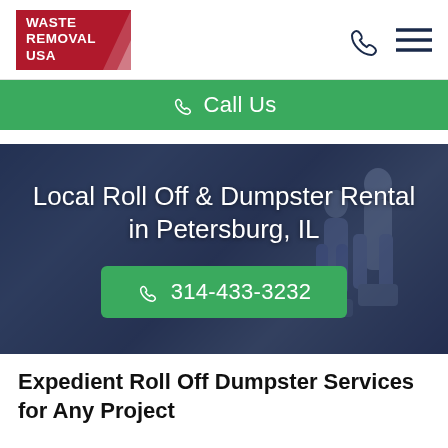[Figure (logo): Waste Removal USA logo - red box with white text and triangle]
Call Us
Local Roll Off & Dumpster Rental in Petersburg, IL
314-433-3232
Expedient Roll Off Dumpster Services for Any Project